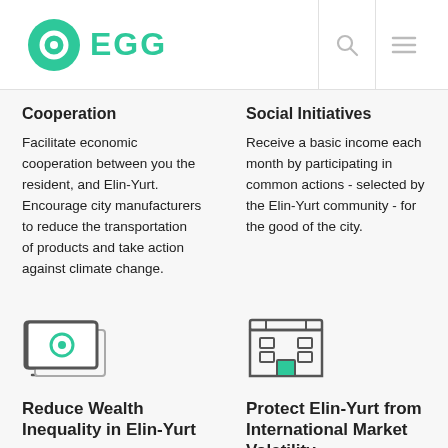EGG
Cooperation
Facilitate economic cooperation between you the resident, and Elin-Yurt. Encourage city manufacturers to reduce the transportation of products and take action against climate change.
Social Initiatives
Receive a basic income each month by participating in common actions - selected by the Elin-Yurt community - for the good of the city.
[Figure (illustration): Icon of a monitor/screen with a circle/zero symbol in teal]
Reduce Wealth Inequality in Elin-Yurt
Provide the vast majority of the newly issued Elin-Yurt Coins to
[Figure (illustration): Icon of a building/store with teal accented door]
Protect Elin-Yurt from International Market Volatility
No need to worry about fueling